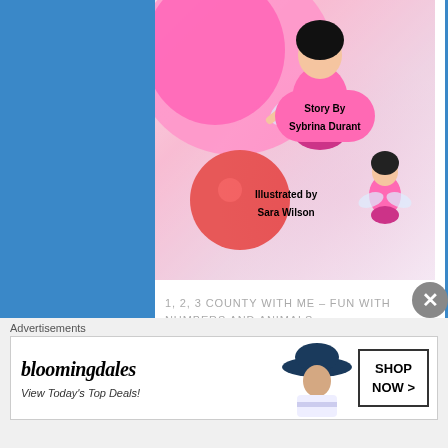[Figure (illustration): Book cover illustration: fairy girl in pink dress with large pink swirling background, red circle/balloon, small fairy figure at bottom right. Text overlays: 'Story By Sybrina Durant' and 'Illustrated by Sara Wilson']
1, 2, 3 COUNTY WITH ME – FUN WITH NUMBERS AND ANIMALS
[Figure (illustration): Book cover for '1, 2, 3 Count With Me' showing colorful numbers 1 (red), 2 (blue), 3 (yellow) and the words 'count with me' in black handwritten font, with children characters at the bottom]
Advertisements
[Figure (other): Bloomingdales advertisement banner: logo in italic serif font, tagline 'View Today's Top Deals!', woman in hat image, 'SHOP NOW >' button]